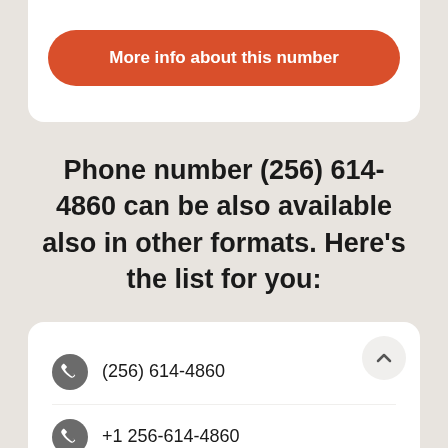More info about this number
Phone number (256) 614-4860 can be also available also in other formats. Here's the list for you:
(256) 614-4860
+1 256-614-4860